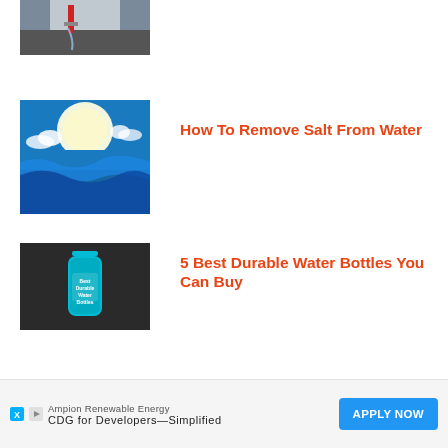[Figure (photo): Partial top image showing water pouring from a tap]
[Figure (photo): Blue ocean water under sunny sky with clouds]
How To Remove Salt From Water
[Figure (photo): Dark background with a blue water bottle labeled Best Durable Water Bottles]
5 Best Durable Water Bottles You Can Buy
[Figure (photo): Black carbon/charcoal pieces on white background]
10 Best Carbon Water Filters For your Home
Ampion Renewable Energy CDG for Developers—Simplified APPLY NOW